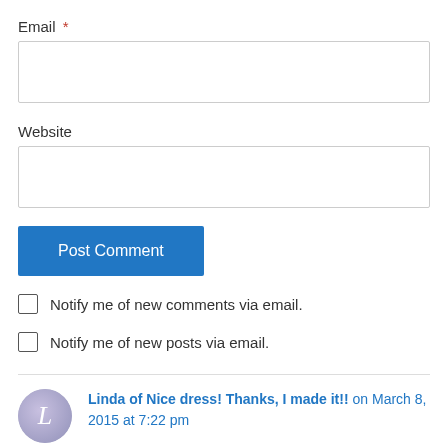Email *
[Figure (other): Empty text input field for Email]
Website
[Figure (other): Empty text input field for Website]
Post Comment
Notify me of new comments via email.
Notify me of new posts via email.
Linda of Nice dress! Thanks, I made it!! on March 8, 2015 at 7:22 pm